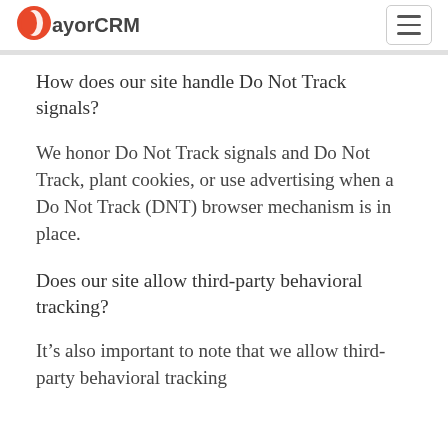PayorCRM
How does our site handle Do Not Track signals?
We honor Do Not Track signals and Do Not Track, plant cookies, or use advertising when a Do Not Track (DNT) browser mechanism is in place.
Does our site allow third-party behavioral tracking?
It’s also important to note that we allow third-party behavioral tracking